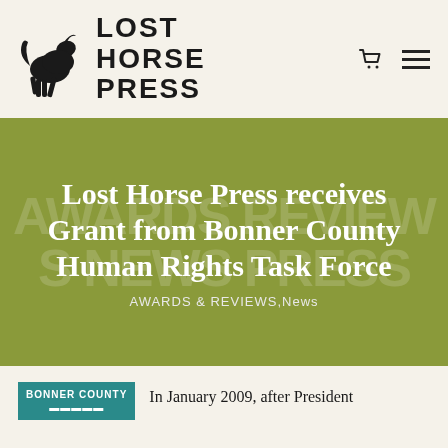[Figure (logo): Lost Horse Press logo with horse illustration and bold text 'LOST HORSE PRESS']
Lost Horse Press receives Grant from Bonner County Human Rights Task Force
AWARDS & REVIEWS, News
[Figure (logo): Bonner County badge/logo in teal]
In January 2009, after President